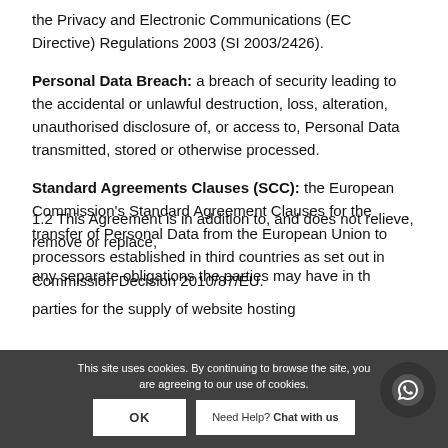the Privacy and Electronic Communications (EC Directive) Regulations 2003 (SI 2003/2426).
Personal Data Breach: a breach of security leading to the accidental or unlawful destruction, loss, alteration, unauthorised disclosure of, or access to, Personal Data transmitted, stored or otherwise processed.
Standard Agreements Clauses (SCC): the European Commission's Standard Agreement Clauses for the transfer of Personal Data from the European Union to processors established in third countries as set out in Commission Decision 2010/87/EU.
1.2 This Agreement is in addition to, and does not relieve, remove or replace, any separate obligations the parties may have in th parties for the supply of website hosting
This site uses cookies. By continuing to browse the site, you are agreeing to our use of cookies.
OK
Need Help? Chat with us